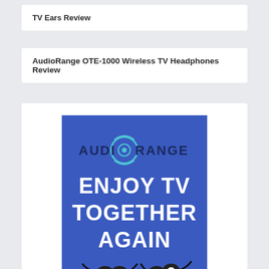TV Ears Review
AudioRange OTE-1000 Wireless TV Headphones Review
[Figure (illustration): AudioRange brand advertisement showing logo at top with circular icon, bold white text reading ENJOY TV TOGETHER AGAIN on blue background, with earbuds/earphones in foreground at bottom]